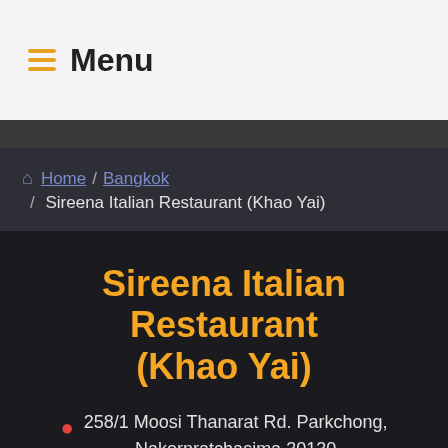Menu
Home / Bangkok / Sireena Italian Restaurant (Khao Yai)
Sireena Italian Restaurant (Khao Yai)
258/1 Moosi Thanarat Rd. Parkchong, Nakornratchasima 30130
$$
Italian